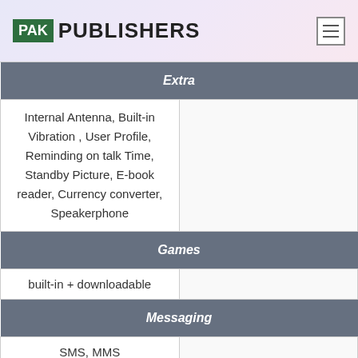PAK PUBLISHERS
| Extra |  |
| --- | --- |
| Internal Antenna, Built-in Vibration , User Profile, Reminding on talk Time, Standby Picture, E-book reader, Currency converter, Speakerphone |  |
| Games |  |
| --- | --- |
| built-in + downloadable |  |
| Messaging |  |
| --- | --- |
| SMS, MMS |  |
| Sensors |  |
| --- | --- |